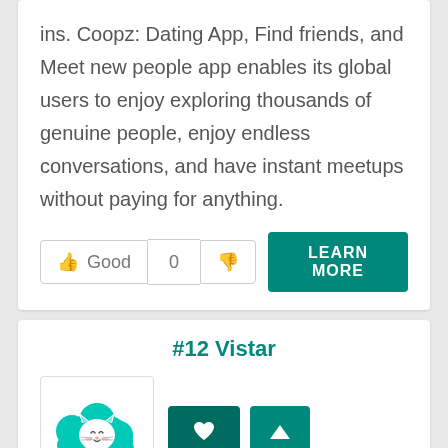ins. Coopz: Dating App, Find friends, and Meet new people app enables its global users to enjoy exploring thousands of genuine people, enjoy endless conversations, and have instant meetups without paying for anything.
👍 Good  0  👎   LEARN MORE
#12 Vistar
[Figure (illustration): Teal/cyan cat illustration with cloud-like splatter background]